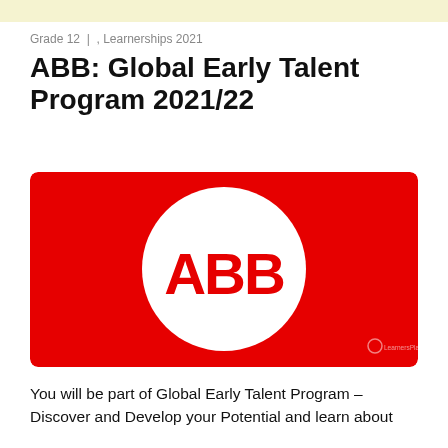Grade 12  |  , Learnerships 2021
ABB: Global Early Talent Program 2021/22
[Figure (logo): ABB logo: red background with white circle containing red ABB text]
You will be part of Global Early Talent Program – Discover and Develop your Potential and learn about